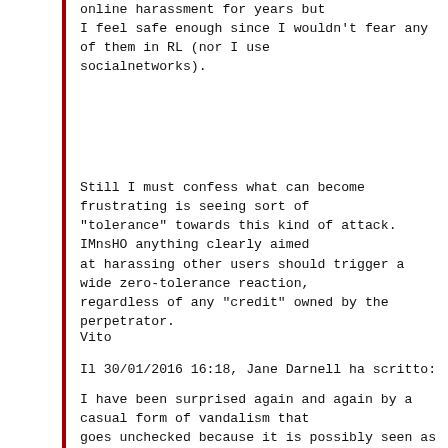online harassment for years but I feel safe enough since I wouldn't fear any of them in RL (nor I use socialnetworks).
Still I must confess what can become frustrating is seeing sort of "tolerance" towards this kind of attack. IMnsHO anything clearly aimed at harassing other users should trigger a wide zero-tolerance reaction, regardless of any "credit" owned by the perpetrator.
Vito
Il 30/01/2016 16:18, Jane Darnell ha scritto:
I have been surprised again and again by a casual form of vandalism that goes unchecked because it is possibly seen as